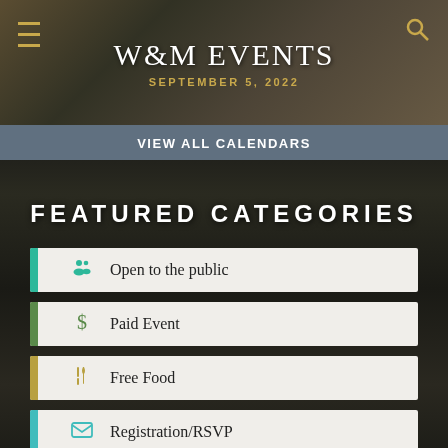W&M EVENTS
SEPTEMBER 5, 2022
VIEW ALL CALENDARS
FEATURED CATEGORIES
Open to the public
Paid Event
Free Food
Registration/RSVP